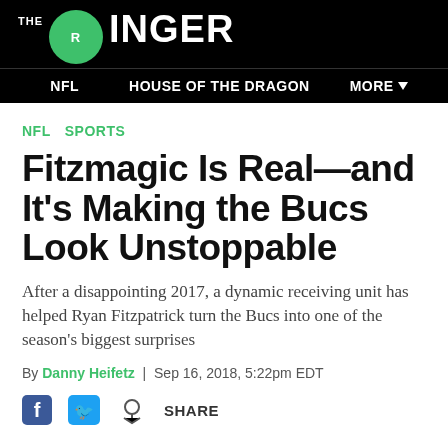THE RINGER
NFL   HOUSE OF THE DRAGON   MORE
NFL   SPORTS
Fitzmagic Is Real—and It's Making the Bucs Look Unstoppable
After a disappointing 2017, a dynamic receiving unit has helped Ryan Fitzpatrick turn the Bucs into one of the season's biggest surprises
By Danny Heifetz | Sep 16, 2018, 5:22pm EDT
SHARE